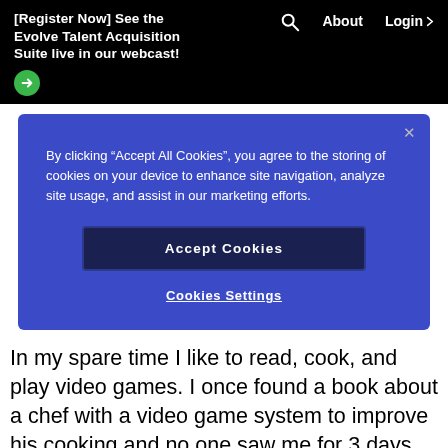[Register Now] See the Evolve Talent Acquisition Suite live in our webcast!
By clicking “Accept All Cookies”, you agree to the storing of cookies on your device to enhance site navigation, analyze site usage, and assist in our marketing efforts.
Accept Cookies
Cookies Settings
In my spare time I like to read, cook, and play video games. I once found a book about a chef with a video game system to improve his cooking and no one saw me for 3 days.